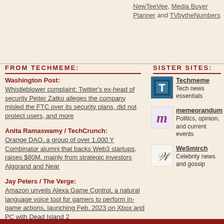NewTeeVee, Media Buyer Planner and TVbytheNumbers
FROM TECHMEME:
Washington Post: Whistleblower complaint: Twitter's ex-head of security Peiter Zatko alleges the company misled the FTC over its security plans, did not protect users, and more
Anita Ramaswamy / TechCrunch: Orange DAO, a group of over 1,000 Y Combinator alumni that backs Web3 startups, raises $80M, mainly from strategic investors Algorand and Near
Jay Peters / The Verge: Amazon unveils Alexa Game Control, a natural language voice tool for gamers to perform in-game actions, launching Feb. 2023 on Xbox and PC with Dead Island 2
SISTER SITES:
Techmeme — Tech news essentials
memeorandum — Politics, opinion, and current events
WeSmirch — Celebrity news and gossip